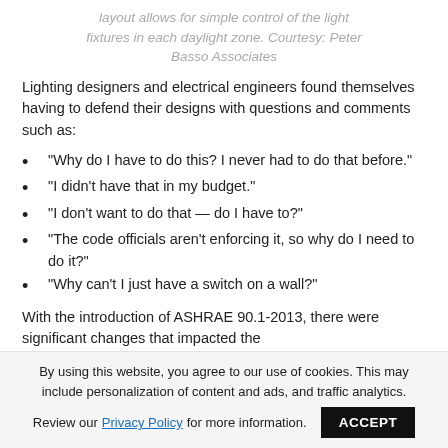layout allows for simple control of the light fixtures in each daylight zone. Courtesy: Peter Basso Associates
Lighting designers and electrical engineers found themselves having to defend their designs with questions and comments such as:
“Why do I have to do this? I never had to do that before.”
“I didn’t have that in my budget.”
“I don’t want to do that — do I have to?”
“The code officials aren’t enforcing it, so why do I need to do it?”
“Why can’t I just have a switch on a wall?”
With the introduction of ASHRAE 90.1-2013, there were significant changes that impacted the
By using this website, you agree to our use of cookies. This may include personalization of content and ads, and traffic analytics. Review our Privacy Policy for more information. ACCEPT